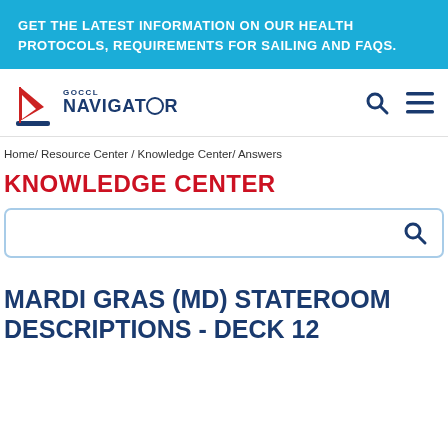GET THE LATEST INFORMATION ON OUR HEALTH PROTOCOLS, REQUIREMENTS FOR SAILING AND FAQS.
[Figure (logo): GOCCL Navigator logo with red ship sail icon and dark blue text]
Home/ Resource Center / Knowledge Center/ Answers
KNOWLEDGE CENTER
[Figure (screenshot): Search input box with magnifying glass icon]
MARDI GRAS (MD) STATEROOM DESCRIPTIONS - DECK 12